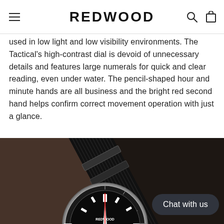REDWOOD
used in low light and low visibility environments. The Tactical's high-contrast dial is devoid of unnecessary details and features large numerals for quick and clear reading, even under water. The pencil-shaped hour and minute hands are all business and the bright red second hand helps confirm correct movement operation with just a glance.
[Figure (photo): Close-up photo of a diver-style wristwatch with a black NATO strap, black dial with luminous hour markers, and a red second hand, resting on a dark background. A 'Chat with us' button overlay appears in the bottom right.]